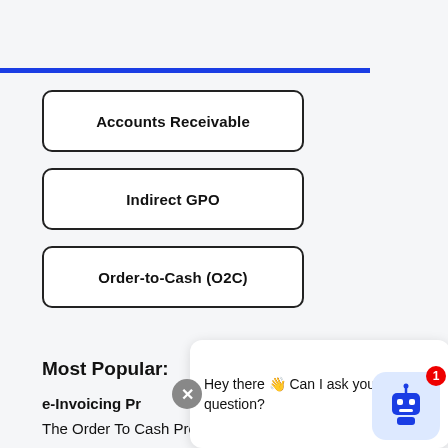[Figure (other): Blue horizontal bar/divider near top of page]
Accounts Receivable
Indirect GPO
Order-to-Cash (O2C)
Most Popular:
e-Invoicing Pr
The Order To Cash Process (O2C) – and Ways To
[Figure (other): Chat bot popup with close button, message text 'Hey there 👋 Can I ask you a quick question?', and robot icon with badge showing 1]